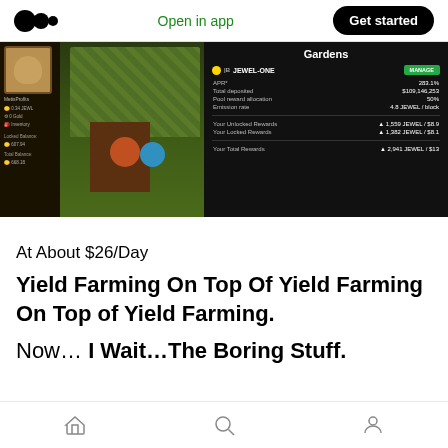Open in app | Get started
[Figure (screenshot): Screenshot of a DeFi game (DeFi Kingdoms) showing a character stats panel on the left with a game scene in the middle, and a Gardens panel on the right showing JEWEL-ONE pool with APR 283.1%, Total deposited $109,146,253, Pool reward allocation 50%, Emission rate 4.8 JEWEL/block, Your Unlocked Rewards 1,559 JEWEL/$8.9, Your Locked Rewards 1,382 JEWEL/$8.1, Your Total Rewards 2,941 JEWEL/$13]
At About $26/Day
Yield Farming On Top Of Yield Farming On Top of Yield Farming.
Now… I Wait…The Boring Stuff.
home | search | profile